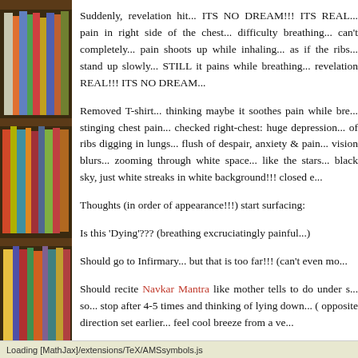[Figure (photo): Bookshelf with colorful books on the left side of the page]
Suddenly, revelation hit... ITS NO DREAM!!! ITS REAL... pain in right side of the chest... difficulty breathing... can't completely... pain shoots up while inhaling... as if the ribs... stand up slowly... STILL it pains while breathing... revelation REAL!!! ITS NO DREAM...
Removed T-shirt... thinking maybe it soothes pain while breathing... stinging chest pain... checked right-chest: huge depression... of ribs digging in lungs... flush of despair, anxiety & pain... vision blurs... zooming through white space... like the stars... black sky, just white streaks in white background!!! closed e...
Thoughts (in order of appearance!!!) start surfacing:
Is this 'Dying'??? (breathing excruciatingly painful...)
Should go to Infirmary... but that is too far!!! (can't even mo...
Should recite Navkar Mantra like mother tells to do under s... so... stop after 4-5 times and thinking of lying down... ( opposite direction set earlier... feel cool breeze from a ve...
Loading [MathJax]/extensions/TeX/AMSsymbols.js